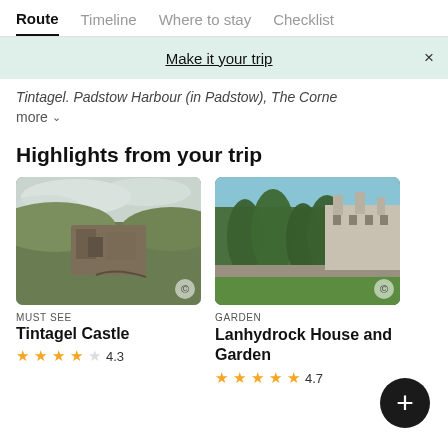Route | Timeline | Where to stay | Checklist
Make it your trip
Tintagel. Padstow Harbour (in Padstow), The Corne
more
Highlights from your trip
[Figure (photo): Aerial view of Tintagel Castle ruins on a cliff with green hills]
MUST SEE
Tintagel Castle
4.3
[Figure (photo): Lanhydrock House and Garden with tall topiary trees and stone building]
GARDEN
Lanhydrock House and Garden
4.7